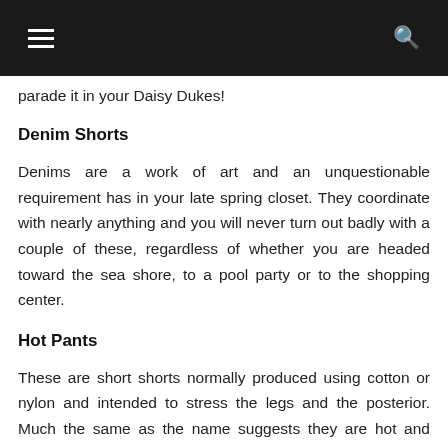parade it in your Daisy Dukes!
Denim Shorts
Denims are a work of art and an unquestionable requirement has in your late spring closet. They coordinate with nearly anything and you will never turn out badly with a couple of these, regardless of whether you are headed toward the sea shore, to a pool party or to the shopping center.
Hot Pants
These are short shorts normally produced using cotton or nylon and intended to stress the legs and the posterior. Much the same as the name suggests they are hot and intended for the